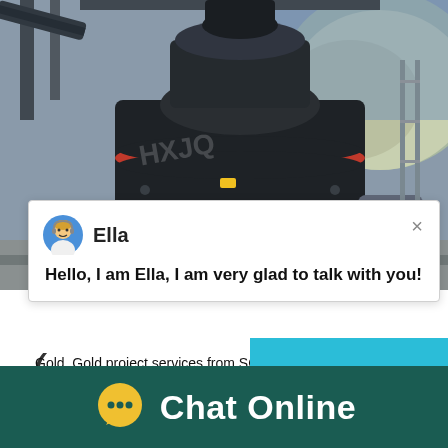[Figure (photo): Industrial mining/crushing machine (large black cone crusher with red ring) in an outdoor industrial facility with conveyor belts and rocky hillside in background]
[Figure (screenshot): Chat popup with avatar of agent 'Ella' saying 'Hello, I am Ella, I am very glad to talk with you!']
Gold. Gold project services from SGS – first ing and consulting services for gold explorati panies worldwide. SGS is the strategic partne competitive advantage as you take your gold
[Figure (screenshot): Teal chat widget showing angry emoji, ball-and-pin graphic, badge with '1', 'Click me to chat >>' button, and 'Enquiry' label at bottom]
Chat Online